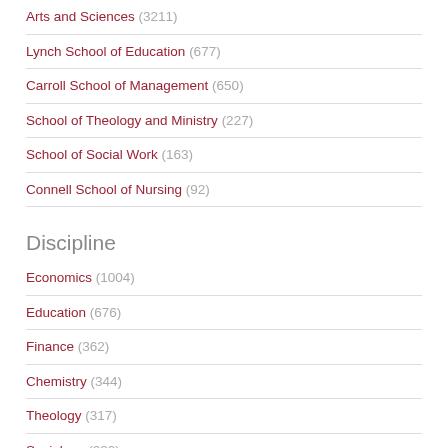Arts and Sciences (3211)
Lynch School of Education (677)
Carroll School of Management (650)
School of Theology and Ministry (227)
School of Social Work (163)
Connell School of Nursing (92)
Discipline
Economics (1004)
Education (676)
Finance (362)
Chemistry (344)
Theology (317)
Sociology (220)
Show more
Center
Center for Retirement Research (962)